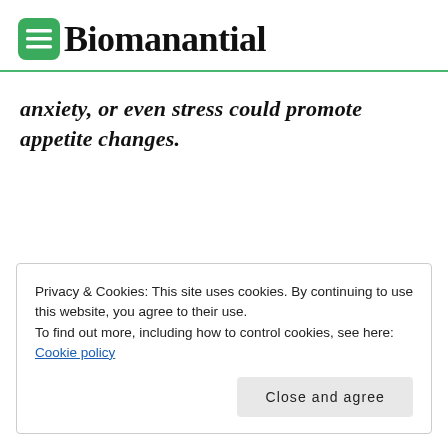Biomanantial
anxiety, or even stress could promote appetite changes.
Privacy & Cookies: This site uses cookies. By continuing to use this website, you agree to their use.
To find out more, including how to control cookies, see here: Cookie policy